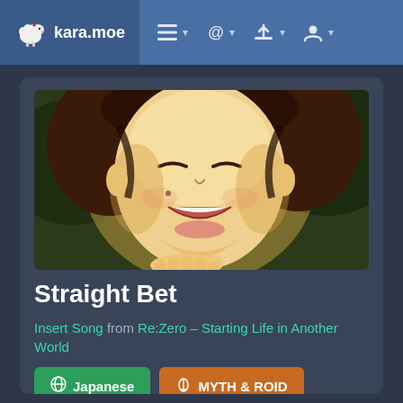kara.moe
[Figure (screenshot): Anime character close-up smiling face with warm golden tones, from Re:Zero]
Straight Bet
Insert Song from Re:Zero – Starting Life in Another World
Japanese | MYTH & ROID | MYTH & ROID | Animation